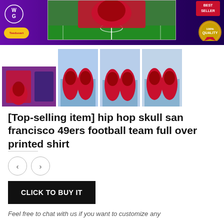[Figure (photo): E-commerce store banner with purple background, football field hoodie product image in center, logo and quality badge]
[Figure (photo): Four product thumbnail images of hip hop skull San Francisco 49ers hoodies]
[Top-selling item] hip hop skull san francisco 49ers football team full over printed shirt
Feel free to chat with us if you want to customize any